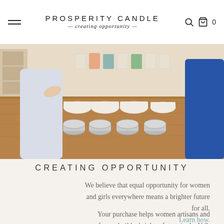PROSPERITY CANDLE — creating opportunity —
[Figure (photo): Photo of two people working at a wooden table with candle-making materials including bowls, metal containers, and jars of candles on shelves in the background.]
CREATING OPPORTUNITY
We believe that equal opportunity for women and girls everywhere means a brighter future for all.
Your purchase helps women artisans and refugees build a brighter future in the U.S.
Learn how.